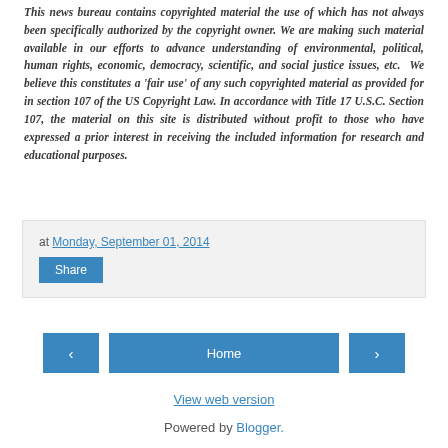This news bureau contains copyrighted material the use of which has not always been specifically authorized by the copyright owner. We are making such material available in our efforts to advance understanding of environmental, political, human rights, economic, democracy, scientific, and social justice issues, etc.  We believe this constitutes a 'fair use' of any such copyrighted material as provided for in section 107 of the US Copyright Law. In accordance with Title 17 U.S.C. Section 107, the material on this site is distributed without profit to those who have expressed a prior interest in receiving the included information for research and educational purposes.
at Monday, September 01, 2014
Share
‹
Home
›
View web version
Powered by Blogger.